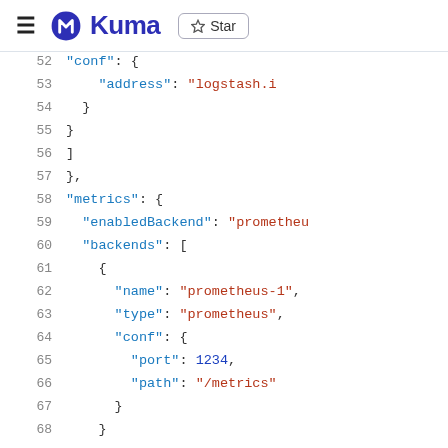≡  Kuma  ☆ Star
[Figure (screenshot): Code snippet showing JSON configuration for Kuma service mesh with metrics backends including prometheus settings. Line numbers 52-68 visible. Lines show conf with address logstash.i, closing braces, metrics object with enabledBackend prometheus, backends array with name prometheus-1, type prometheus, conf with port 1234 and path /metrics.]